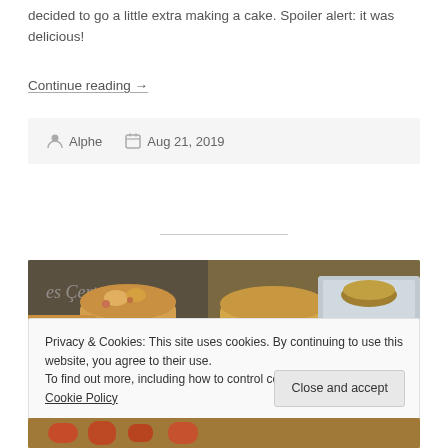decided to go a little extra making a cake. Spoiler alert: it was delicious!
Continue reading →
Alphe   Aug 21, 2019
[Figure (photo): Photo of muffins in colorful silicone baking cups (teal and green), with text 'Cookies Corner' visible in background]
Privacy & Cookies: This site uses cookies. By continuing to use this website, you agree to their use. To find out more, including how to control cookies, see here: Cookie Policy
Close and accept
[Figure (photo): Partial view of another food photo at bottom of page]